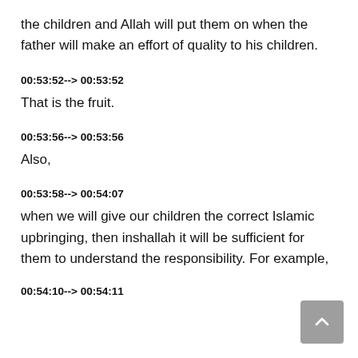the children and Allah will put them on when the father will make an effort of quality to his children.
00:53:52--> 00:53:52
That is the fruit.
00:53:56--> 00:53:56
Also,
00:53:58--> 00:54:07
when we will give our children the correct Islamic upbringing, then inshallah it will be sufficient for them to understand the responsibility. For example,
00:54:10--> 00:54:11